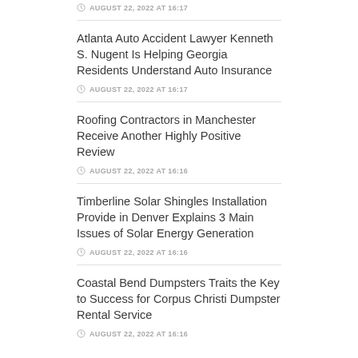AUGUST 22, 2022 AT 16:17
Atlanta Auto Accident Lawyer Kenneth S. Nugent Is Helping Georgia Residents Understand Auto Insurance
AUGUST 22, 2022 AT 16:17
Roofing Contractors in Manchester Receive Another Highly Positive Review
AUGUST 22, 2022 AT 16:16
Timberline Solar Shingles Installation Provide in Denver Explains 3 Main Issues of Solar Energy Generation
AUGUST 22, 2022 AT 16:16
Coastal Bend Dumpsters Traits the Key to Success for Corpus Christi Dumpster Rental Service
AUGUST 22, 2022 AT 16:16